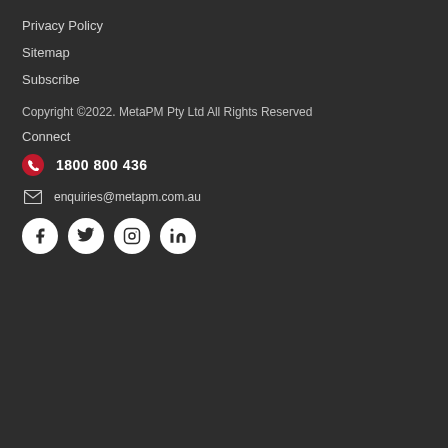Privacy Policy
Sitemap
Subscribe
Copyright ©2022. MetaPM Pty Ltd All Rights Reserved
Connect
1800 800 436
enquiries@metapm.com.au
[Figure (illustration): Social media icons: Facebook, Twitter, Instagram, LinkedIn]